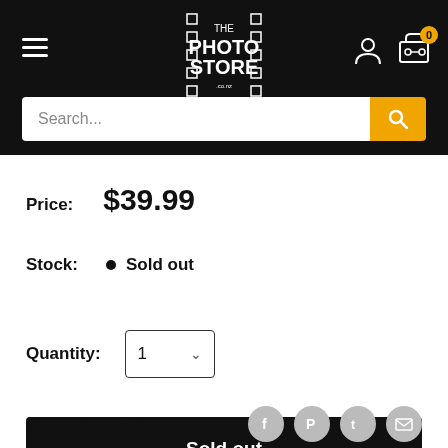[Figure (screenshot): The Photo Store logo with film strip motif on black background]
Search...
Price: $39.99
Stock: • Sold out
Quantity: 1
Sold out
Share this product